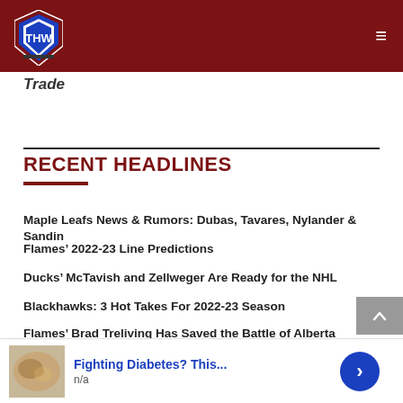THW
Trade
RECENT HEADLINES
Maple Leafs News & Rumors: Dubas, Tavares, Nylander & Sandin
Flames' 2022-23 Line Predictions
Ducks' McTavish and Zellweger Are Ready for the NHL
Blackhawks: 3 Hot Takes For 2022-23 Season
Flames' Brad Treliving Has Saved the Battle of Alberta
Meet the New Blackhawks: Max Domi
Flames Looking to Prove 2021-22 Was No Fluke
Fighting Diabetes? This... n/a